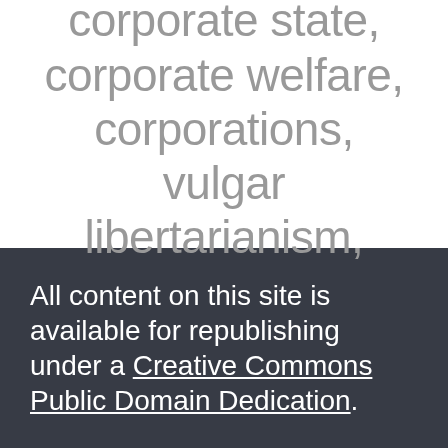corporate state, corporate welfare, corporations, vulgar libertarianism,
All content on this site is available for republishing under a Creative Commons Public Domain Dedication.